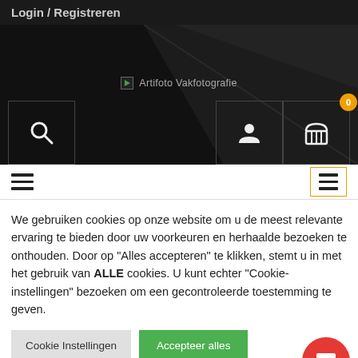Login / Registreren
[Figure (screenshot): Dark hero banner with Artifoto Vakfotografie logo placeholder text, search icon box on left, user and shopping cart icon boxes on right with orange badge showing 0]
[Figure (screenshot): Navigation bar with hamburger menu on left, and highlighted hamburger menu icon on right with orange border]
We gebruiken cookies op onze website om u de meest relevante ervaring te bieden door uw voorkeuren en herhaalde bezoeken te onthouden. Door op "Alles accepteren" te klikken, stemt u in met het gebruik van ALLE cookies. U kunt echter "Cookie-instellingen" bezoeken om een gecontroleerde toestemming te geven.
Cookie Instellingen  Accepteer alles